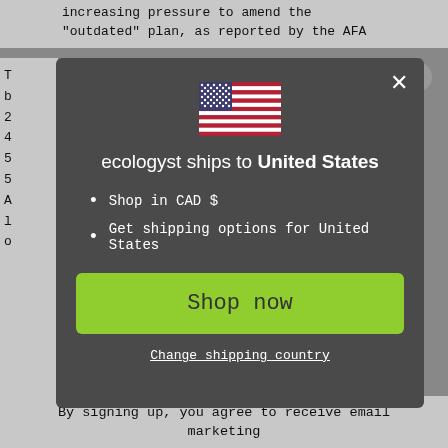increasing pressure to amend the "outdated" plan, as reported by the AFA
[Figure (screenshot): Modal dialog on ecologyst website showing US flag, shipping notification text 'ecologyst ships to United States', bullet points 'Shop in CAD $' and 'Get shipping options for United States', a green 'Shop now' button, and a 'Change shipping country' link. Close button (X) in top right.]
By signing up, you agree to receive email marketing